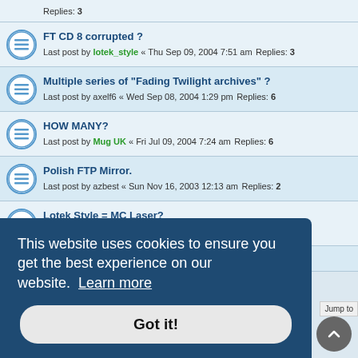Replies: 3
FT CD 8 corrupted ? Last post by lotek_style « Thu Sep 09, 2004 7:51 am Replies: 3
Multiple series of "Fading Twilight archives" ? Last post by axelf6 « Wed Sep 08, 2004 1:29 pm Replies: 6
HOW MANY? Last post by Mug UK « Fri Jul 09, 2004 7:24 am Replies: 6
Polish FTP Mirror. Last post by azbest « Sun Nov 16, 2003 12:13 am Replies: 2
Lotek Style = MC Laser? Last post by lotek_style « Wed Jul 09, 2003 7:00 pm Replies: 9
What is Fading Twilight?
This website uses cookies to ensure you get the best experience on our website. Learn more
Got it!